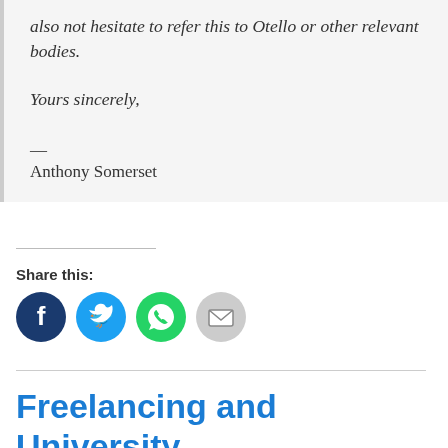also not hesitate to refer this to Otello or other relevant bodies.
Yours sincerely,
—
Anthony Somerset
Share this:
[Figure (infographic): Four social share buttons: Facebook (dark blue circle), Twitter (light blue circle), WhatsApp (green circle), Email (grey circle)]
Freelancing and University